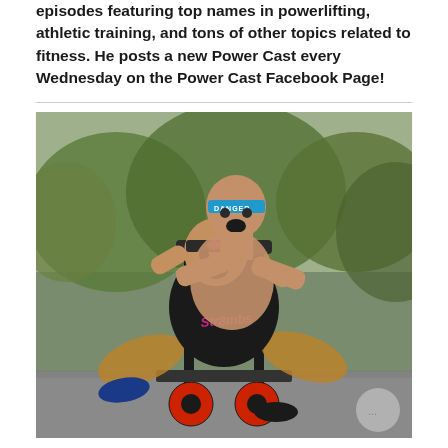episodes featuring top names in powerlifting, athletic training, and tons of other topics related to fitness. He posts a new Power Cast every Wednesday on the Power Cast Facebook Page!
[Figure (photo): Two muscular men working out outdoors using a wheeled sled/cart. One man sits on the sled gripping handles with an intense expression, wearing a black t-shirt with 'Str8mbs' text and a headband. Another shirtless bald man leans over him from behind also gripping the handles, wearing a blue headband that reads 'DANGER'. Trees and pavement visible in the background.]